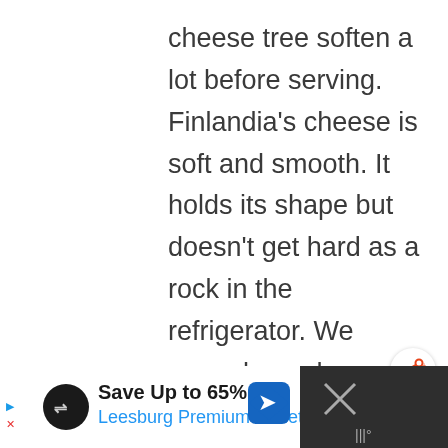cheese tree soften a lot before serving. Finlandia's cheese is soft and smooth. It holds its shape but doesn't get hard as a rock in the refrigerator. We served our cheese tree with crackers, but it would be fantastic with fresh vegetables as well. Instead of setting out a veggie platter with dip, try a veggie
[Figure (other): Share button icon — circular white button with orange share/network icon and plus sign]
[Figure (other): Advertisement banner: Save Up to 65% Leesburg Premium Outlets, with circular black icon and blue arrow sign on right. Dark panel on far right with an X close button.]